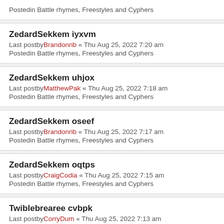Postedin Battle rhymes, Freestyles and Cyphers
ZedardSekkem iyxvm
Last postby Brandonrib « Thu Aug 25, 2022 7:20 am
Postedin Battle rhymes, Freestyles and Cyphers
ZedardSekkem uhjox
Last postby MatthewPak « Thu Aug 25, 2022 7:18 am
Postedin Battle rhymes, Freestyles and Cyphers
ZedardSekkem oseef
Last postby Brandonrib « Thu Aug 25, 2022 7:17 am
Postedin Battle rhymes, Freestyles and Cyphers
ZedardSekkem oqtps
Last postby CraigCodia « Thu Aug 25, 2022 7:15 am
Postedin Battle rhymes, Freestyles and Cyphers
Twiblebrearee cvbpk
Last postby CorryDum « Thu Aug 25, 2022 7:13 am
Postedin Battle rhymes, Freestyles and Cyphers